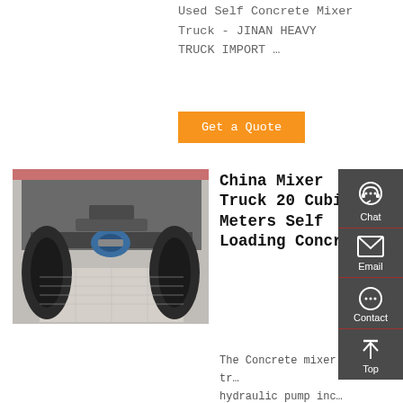Used Self Concrete Mixer Truck - JINAN HEAVY TRUCK IMPORT …
Get a Quote
[Figure (photo): Underside/rear view of a concrete mixer truck chassis showing axle and wheels]
China Mixer Truck 20 Cubic Meters Self Loading Concr…
The Concrete mixer tr… hydraulic pump inc… many models such as 8… 9m3, 10m3, 12m3, 14m3… 16m3, and any tailor-made-for-mixer-truck…